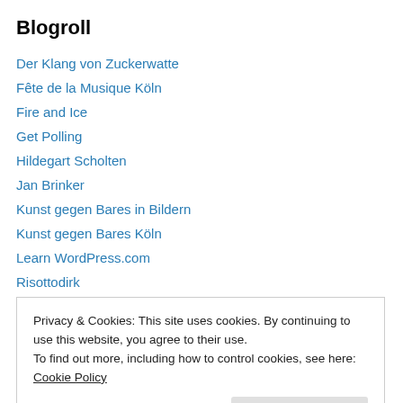Blogroll
Der Klang von Zuckerwatte
Fête de la Musique Köln
Fire and Ice
Get Polling
Hildegart Scholten
Jan Brinker
Kunst gegen Bares in Bildern
Kunst gegen Bares Köln
Learn WordPress.com
Risottodirk
Tanfer im Nirgendwo
Privacy & Cookies: This site uses cookies. By continuing to use this website, you agree to their use.
To find out more, including how to control cookies, see here: Cookie Policy
Close and accept
1  2  3  4  5  6  7